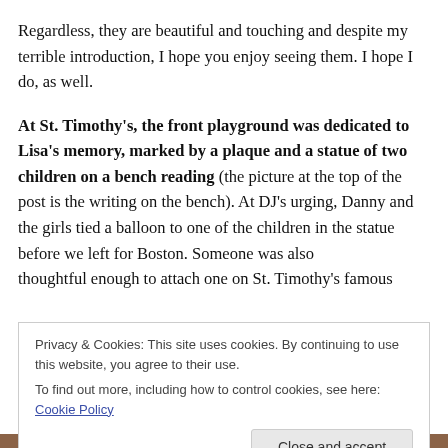Regardless, they are beautiful and touching and despite my terrible introduction, I hope you enjoy seeing them. I hope I do, as well.

At St. Timothy's, the front playground was dedicated to Lisa's memory, marked by a plaque and a statue of two children on a bench reading (the picture at the top of the post is the writing on the bench). At DJ's urging, Danny and the girls tied a balloon to one of the children in the statue before we left for Boston. Someone was also thoughtful enough to attach one on St. Timothy's famous
Privacy & Cookies: This site uses cookies. By continuing to use this website, you agree to their use.
To find out more, including how to control cookies, see here: Cookie Policy
Close and accept